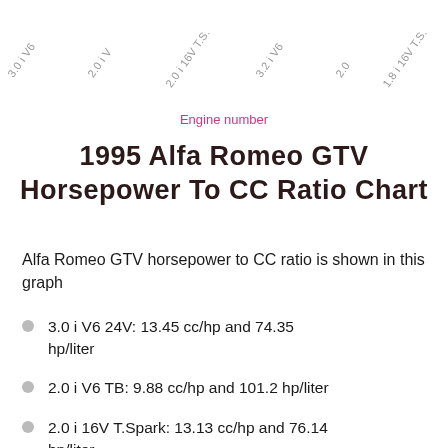[Figure (other): Rotated engine label text headers: 3.0 i V6, 2.0 i V, 2.0 i 16V T.S., 3.2 i V6, 2.0, 1.8 i 16V T.S.]
Engine number
1995 Alfa Romeo GTV Horsepower To CC Ratio Chart
Alfa Romeo GTV horsepower to CC ratio is shown in this graph
3.0 i V6 24V: 13.45 cc/hp and 74.35 hp/liter
2.0 i V6 TB: 9.88 cc/hp and 101.2 hp/liter
2.0 i 16V T.Spark: 13.13 cc/hp and 76.14 hp/liter